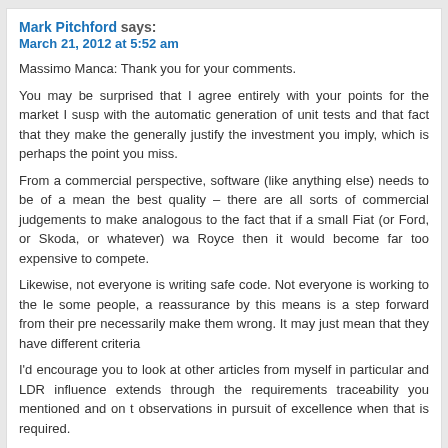Mark Pitchford says:
March 21, 2012 at 5:52 am
Massimo Manca: Thank you for your comments.
You may be surprised that I agree entirely with your points for the market I susp with the automatic generation of unit tests and that fact that they make the generally justify the investment you imply, which is perhaps the point you miss.
From a commercial perspective, software (like anything else) needs to be of a mean the best quality – there are all sorts of commercial judgements to make analogous to the fact that if a small Fiat (or Ford, or Skoda, or whatever) wa Royce then it would become far too expensive to compete.
Likewise, not everyone is writing safe code. Not everyone is working to the le some people, a reassurance by this means is a step forward from their pre necessarily make them wrong. It may just mean that they have different criteria
I'd encourage you to look at other articles from myself in particular and LDR influence extends through the requirements traceability you mentioned and on t observations in pursuit of excellence when that is required.
Reply
Massimo Manca says:
March 21, 2012 at 2:07 pm